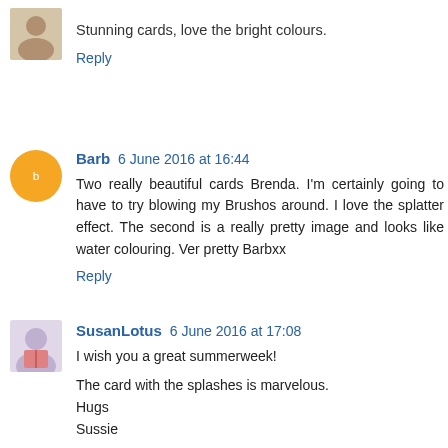Stunning cards, love the bright colours.
Reply
Barb 6 June 2016 at 16:44
Two really beautiful cards Brenda. I'm certainly going to have to try blowing my Brushos around. I love the splatter effect. The second is a really pretty image and looks like water colouring. Ver pretty Barbxx
Reply
SusanLotus 6 June 2016 at 17:08
I wish you a great summerweek!
The card with the splashes is marvelous.
Hugs
Sussie
Reply